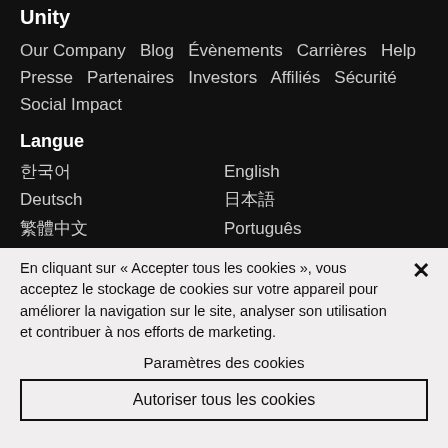Unity
Our Company  Blog  Évènements  Carrières  Help  Presse  Partenaires  Investors  Affiliés  Sécurité  Social Impact
Langue
한국어
English
Deutsch
日本語
繁體中文
Português
Русский
Español
En cliquant sur « Accepter tous les cookies », vous acceptez le stockage de cookies sur votre appareil pour améliorer la navigation sur le site, analyser son utilisation et contribuer à nos efforts de marketing.
Paramètres des cookies
Autoriser tous les cookies